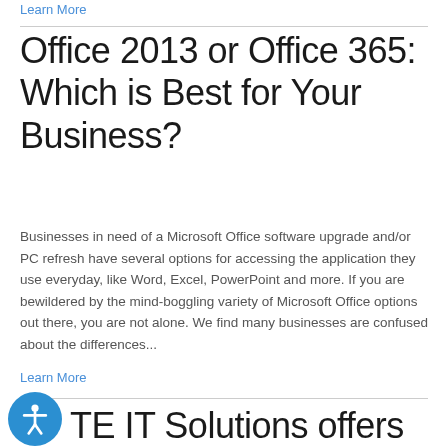Learn More
Office 2013 or Office 365: Which is Best for Your Business?
Businesses in need of a Microsoft Office software upgrade and/or PC refresh have several options for accessing the application they use everyday, like Word, Excel, PowerPoint and more. If you are bewildered by the mind-boggling variety of Microsoft Office options out there, you are not alone. We find many businesses are confused about the differences...
Learn More
TE IT Solutions offers Box Cloud Content Sharing